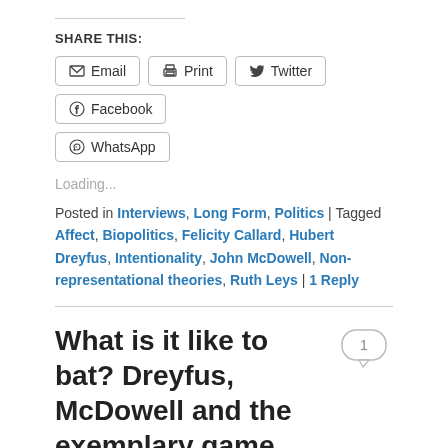SHARE THIS:
Email
Print
Twitter
Facebook
WhatsApp
Loading...
Posted in Interviews, Long Form, Politics | Tagged Affect, Biopolitics, Felicity Callard, Hubert Dreyfus, Intentionality, John McDowell, Non-representational theories, Ruth Leys | 1 Reply
What is it like to bat? Dreyfus, McDowell and the exemplary game
Posted on 28 Aug 2010